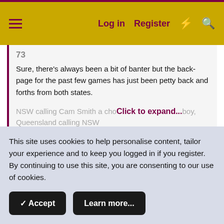Log in  Register
Sure, there's always been a bit of banter but the back-page for the past few games has just been petty back and forths from both states.
NSW calling Cam Smith a choboy, Queensland calling NSW  Click to expand...
Mal's rats and filth comments are ringing true once again
This site uses cookies to help personalise content, tailor your experience and to keep you logged in if you register.
By continuing to use this site, you are consenting to our use of cookies.